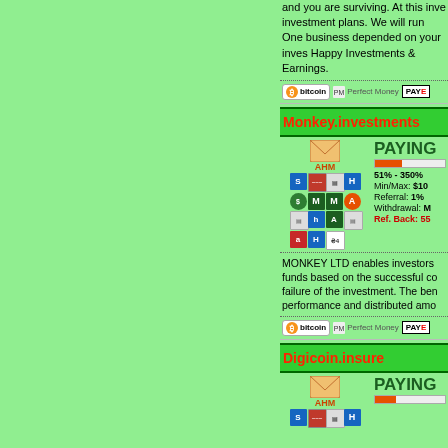and you are surviving. At this inve investment plans. We will run One business depended on your inves Happy Investments & Earnings.
[Figure (infographic): Payment method icons: Bitcoin, Perfect Money, Payeer]
Monkey.investments
[Figure (infographic): AHM monitor icon with grid of payment/monitor icons]
PAYING
51% - 350%
Min/Max: $10
Referral: 1%
Withdrawal: M
Ref. Back: 55
MONKEY LTD enables investors funds based on the successful co failure of the investment. The ben performance and distributed amo
[Figure (infographic): Payment method icons: Bitcoin, Perfect Money, Payeer]
Digicoin.insure
[Figure (infographic): AHM monitor icon for Digicoin.insure]
PAYING